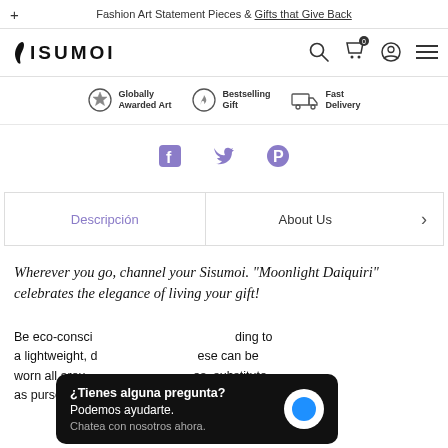Fashion Art Statement Pieces & Gifts that Give Back
[Figure (logo): Sisumoi logo with stylized flame/leaf symbol]
[Figure (infographic): Feature icons: Globally Awarded Art, Bestselling Gift, Fast Delivery]
[Figure (infographic): Social share icons: Facebook, Twitter, Pinterest in purple]
Descripción    About Us
Wherever you go, channel your Sisumoi. "Moonlight Daiquiri" celebrates the elegance of living your gift!
Be eco-consci... ding to a lightweight, d... ese can be worn all arou... os, substitute as purses and...
[Figure (screenshot): Chat popup: ¿Tienes alguna pregunta? Podemos ayudarte. Chatea con nosotros ahora.]